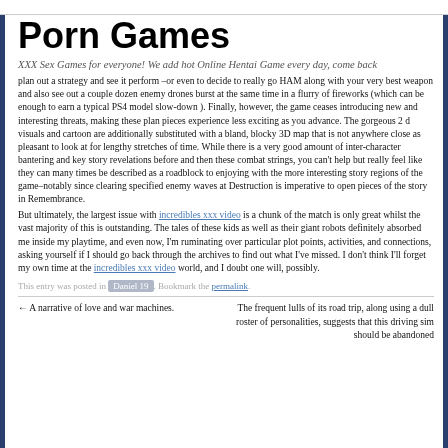Porn Games
XXX Sex Games for everyone! We add hot Online Hentai Game every day, come back
plan out a strategy and see it perform –or even to decide to really go HAM along with your very best weapon and also see out a couple dozen enemy drones burst at the same time in a flurry of fireworks (which can be enough to earn a typical PS4 model slow-down ). Finally, however, the game ceases introducing new and interesting threats, making these plan pieces experience less exciting as you advance. The gorgeous 2 d visuals and cartoon are additionally substituted with a bland, blocky 3D map that is not anywhere close as pleasant to look at for lengthy stretches of time. While there is a very good amount of inter-character bantering and key story revelations before and then these combat strings, you can't help but really feel like they can many times be described as a roadblock to enjoying with the more interesting story regions of the game–notably since clearing specified enemy waves at Destruction is imperative to open pieces of the story in Remembrance.
But ultimately, the largest issue with incredibles xxx video is a chunk of the match is only great whilst the vast majority of this is outstanding. The tales of these kids as well as their giant robots definitely absorbed me inside my playtime, and even now, I'm ruminating over particular plot points, activities, and connections, asking yourself if I should go back through the archives to find out what I've missed. I don't think I'll forget my own time at the incredibles xxx video world, and I doubt one will, possibly.
This entry was posted in Daniel 19. Bookmark the permalink.
← A narrative of love and war machines.
The frequent lulls of its road trip, along using a dull roster of personalities, suggests that this driving sim should be abandoned